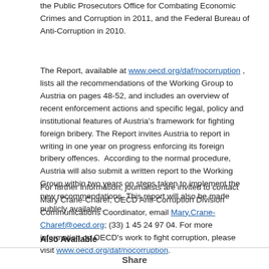the Public Prosecutors Office for Combating Economic Crimes and Corruption in 2011, and the Federal Bureau of Anti-Corruption in 2010.
The Report, available at www.oecd.org/daf/nocorruption , lists all the recommendations of the Working Group to Austria on pages 48-52, and includes an overview of recent enforcement actions and specific legal, policy and institutional features of Austria's framework for fighting foreign bribery. The Report invites Austria to report in writing in one year on progress enforcing its foreign bribery offences.  According to the normal procedure, Austria will also submit a written report to the Working Group within two years on steps taken to implement the new recommendations. This report will also be made publicly available.
For further information, journalists are invited to contact Mary Crane-Charef, OECD Anti-Corruption Division Communications Coordinator, email Mary.Crane-Charef@oecd.org; (33) 1 45 24 97 04. For more information on OECD's work to fight corruption, please visit www.oecd.org/daf/nocorruption.
Also Available
Share